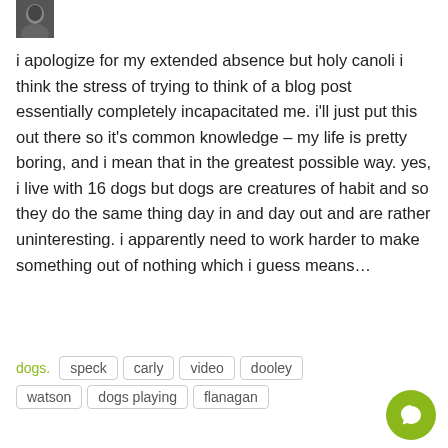[Figure (photo): Small avatar photo, black and white, person with dark hair]
i apologize for my extended absence but holy canoli i think the stress of trying to think of a blog post essentially completely incapacitated me. i'll just put this out there so it's common knowledge – my life is pretty boring, and i mean that in the greatest possible way. yes, i live with 16 dogs but dogs are creatures of habit and so they do the same thing day in and day out and are rather uninteresting. i apparently need to work harder to make something out of nothing which i guess means…
dogs. speck carly video dooley watson dogs playing flanagan
read more